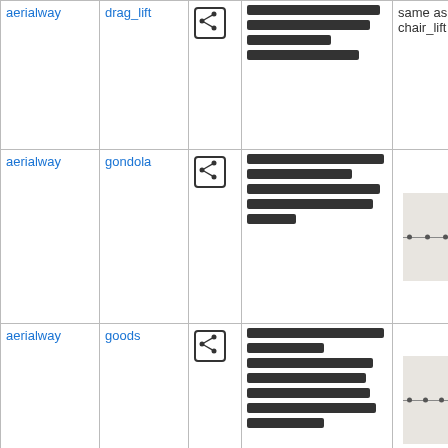| key1 | key2 | icon | description | note | image |
| --- | --- | --- | --- | --- | --- |
| aerialway | drag_lift | [share icon] | [redacted text] | same as chair_lift | [image] |
| aerialway | gondola | [share icon] | [redacted text] | [diagram] | [image] |
| aerialway | goods | [share icon] | [redacted text] | [diagram] | [image] |